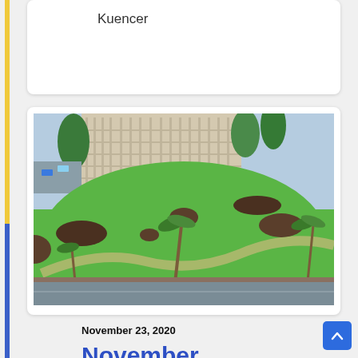Kuencer
[Figure (photo): Aerial view of a green lawn and park area with palm trees, a large multi-story parking structure in the background, and a street visible at the bottom. The setting appears to be a tropical location such as Hawaii.]
November 23, 2020
November